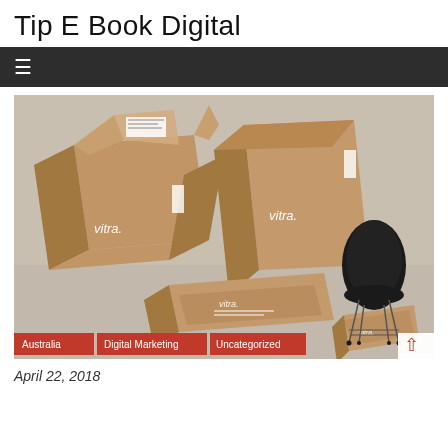Tip E Book Digital
[Figure (photo): Product photography showing Vitra branded cardboard boxes in various open configurations alongside a black Eames DSR chair on a grey background. Tags: Australia, Digital Marketing, Uncategorized overlaid at bottom.]
April 22, 2018